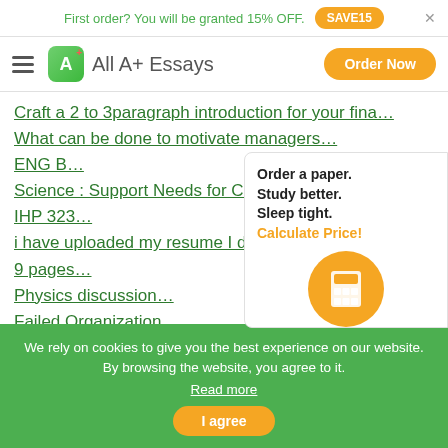First order? You will be granted 15% OFF. SAVE15
[Figure (logo): All A+ Essays logo with green rounded square icon and orange Order Now button]
Craft a 2 to 3paragraph introduction for your fina…
What can be done to motivate managers…
ENG B…
Science : Support Needs for CKD…
IHP 323…
i have uploaded my resume I dont have alot of expe…
9 pages…
Physics discussion…
Failed Organization…
[Figure (infographic): Popup card: Order a paper. Study better. Sleep tight. Calculate Price! with orange calculator circle icon]
We rely on cookies to give you the best experience on our website. By browsing the website, you agree to it. Read more
I agree